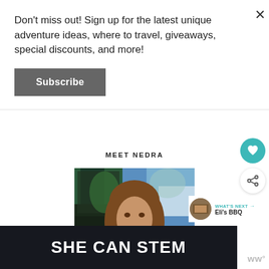Don't miss out! Sign up for the latest unique adventure ideas, where to travel, giveaways, special discounts, and more!
Subscribe
MEET NEDRA
[Figure (photo): Woman smiling in front of colorful abstract mural background]
[Figure (photo): SHE CAN STEM dark banner with white bold text]
[Figure (other): Teal heart icon circle button]
[Figure (other): Share icon circle button]
[Figure (other): What's Next thumbnail with Eli's BBQ label]
WHAT'S NEXT → Eli's BBQ
[Figure (logo): WWP logo bottom right]